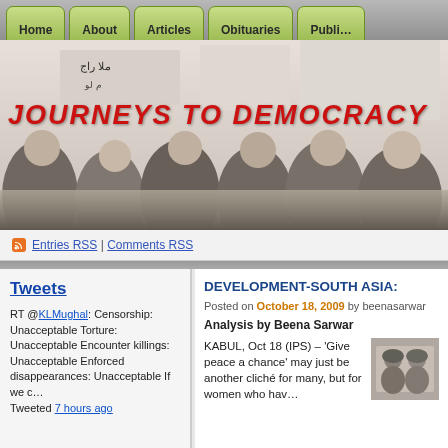Home | About | Articles | Obituaries | Publications
[Figure (photo): Black and white photograph of women protesters holding signs with Arabic text, overlaid with red italic text 'JOURNEYS TO DEMOCRACY']
JOURNEYS TO DEMOCRACY
Entries RSS | Comments RSS
Tweets
RT @KLMughal: Censorship: Unacceptable Torture: Unacceptable Encounter killings: Unacceptable Enforced disappearances: Unacceptable If we c… Tweeted 7 hours ago
DEVELOPMENT-SOUTH ASIA:
Posted on October 18, 2009 by beenasarwar
Analysis by Beena Sarwar
KABUL, Oct 18 (IPS) – 'Give peace a chance' may just be another cliché for many, but for women who have…
[Figure (photo): Small color photo of two women in headscarves]